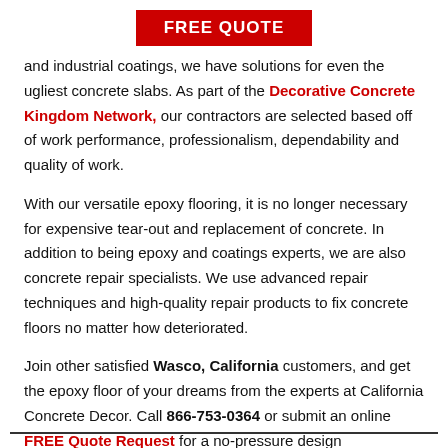FREE QUOTE
and industrial coatings, we have solutions for even the ugliest concrete slabs. As part of the Decorative Concrete Kingdom Network, our contractors are selected based off of work performance, professionalism, dependability and quality of work.
With our versatile epoxy flooring, it is no longer necessary for expensive tear-out and replacement of concrete. In addition to being epoxy and coatings experts, we are also concrete repair specialists. We use advanced repair techniques and high-quality repair products to fix concrete floors no matter how deteriorated.
Join other satisfied Wasco, California customers, and get the epoxy floor of your dreams from the experts at California Concrete Decor. Call 866-753-0364 or submit an online FREE Quote Request for a no-pressure design consultation.